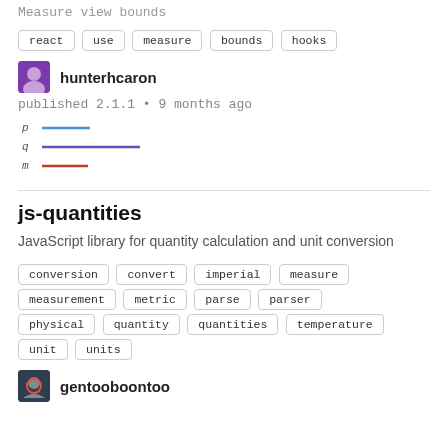Measure view bounds
react  use  measure  bounds  hooks
[Figure (illustration): Avatar of user hunterhcaron — purple/dark gradient square avatar]
hunterhcaron
published 2.1.1 • 9 months ago
[Figure (other): Popularity chart showing three horizontal bars labeled p (blue, short), q (purple, longer), m (red, short)]
js-quantities
JavaScript library for quantity calculation and unit conversion
conversion  convert  imperial  measure  measurement  metric  parse  parser  physical  quantity  quantities  temperature  unit  units
[Figure (illustration): Avatar of user gentooboontoo — dark circular avatar with figure graphic]
gentooboontoo